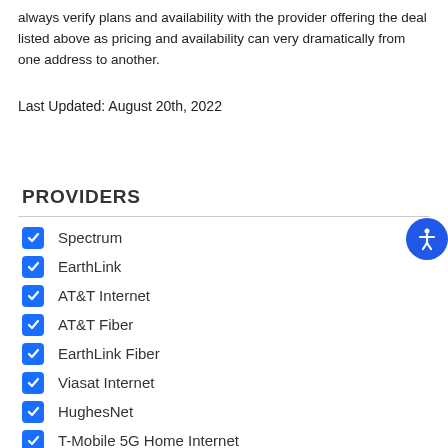always verify plans and availability with the provider offering the deal listed above as pricing and availability can very dramatically from one address to another.
Last Updated: August 20th, 2022
PROVIDERS
Spectrum
EarthLink
AT&T Internet
AT&T Fiber
EarthLink Fiber
Viasat Internet
HughesNet
T-Mobile 5G Home Internet
Ultra Home Internet
EarthLink 5G Home Internet